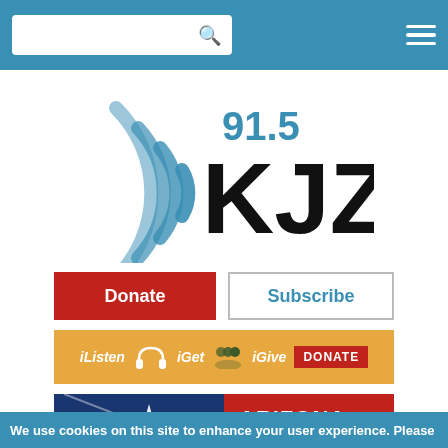[Figure (screenshot): KJZZ 91.5 radio station website header with search bar and hamburger menu on teal background]
[Figure (logo): KJZZ 91.5 radio station logo with blue signal arcs and bold black KJZZ text]
[Figure (other): Donate button (red) and Subscribe button (white with blue text)]
[Figure (other): iListen iGet iGive orange banner with DONATE red button]
[Figure (other): Arizona Voter Guide banner with star and red/blue design]
We use cookies on this site to enhance your user experience. Please